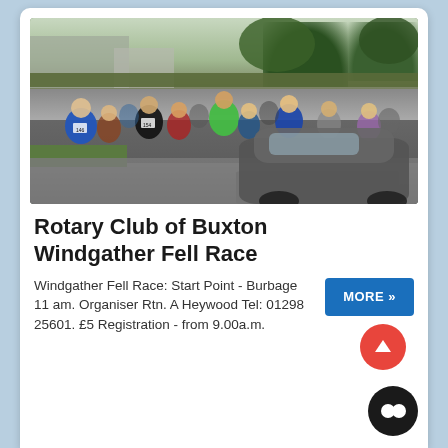[Figure (photo): A crowd of runners at the start of a fell race on a road, with a car leading them. Buildings and trees visible in background.]
Rotary Club of Buxton Windgather Fell Race
Windgather Fell Race: Start Point - Burbage 11 am. Organiser Rtn. A Heywood Tel: 01298 25601. £5 Registration - from 9.00a.m.